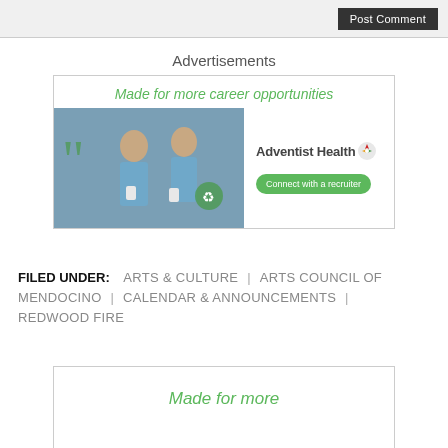Post Comment
Advertisements
[Figure (illustration): Adventist Health advertisement showing nurses in scrubs with text 'Made for more career opportunities', logo, and 'Connect with a recruiter' button]
FILED UNDER: ARTS & CULTURE | ARTS COUNCIL OF MENDOCINO | CALENDAR & ANNOUNCEMENTS | REDWOOD FIRE
[Figure (illustration): Second Adventist Health advertisement showing partial 'Made for more' green italic text]